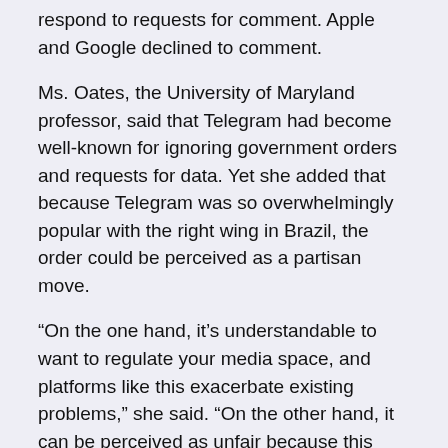respond to requests for comment. Apple and Google declined to comment.
Ms. Oates, the University of Maryland professor, said that Telegram had become well-known for ignoring government orders and requests for data. Yet she added that because Telegram was so overwhelmingly popular with the right wing in Brazil, the order could be perceived as a partisan move.
“On the one hand, it’s understandable to want to regulate your media space, and platforms like this exacerbate existing problems,” she said. “On the other hand, it can be perceived as unfair because this targets a particular group of people.”
André Spigariol contributed reporting from Brasília, Brazil, and Leonardo Coelho from Rio de Janeiro.